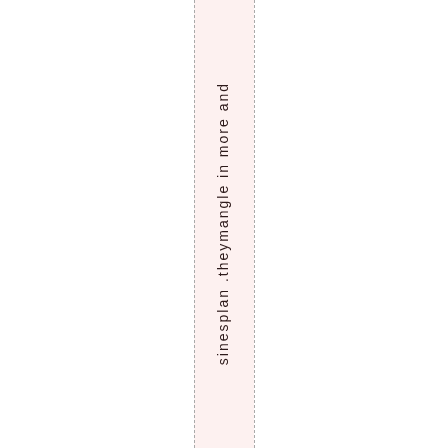s i n e s s p l a n . t h e y m a n g l e i n m o r e a n d